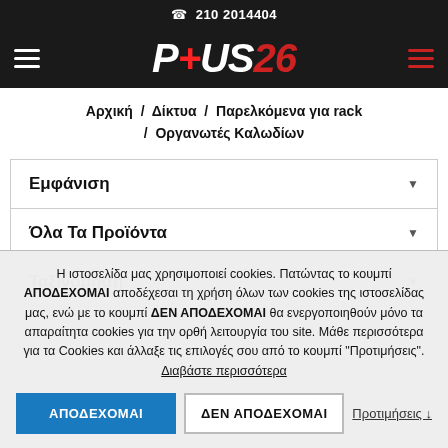☎ 210 2014404
[Figure (logo): P+US26 logo in white and red italic bold text on dark background with hamburger menu icons on both sides]
Αρχική / Δίκτυα / Παρελκόμενα για rack / Οργανωτές Καλωδίων
Εμφάνιση
Όλα Τα Προϊόντα
Ταξινόμηση
Η ιστοσελίδα μας χρησιμοποιεί cookies. Πατώντας το κουμπί ΑΠΟΔΕΧΟΜΑΙ αποδέχεσαι τη χρήση όλων των cookies της ιστοσελίδας μας, ενώ με το κουμπί ΔΕΝ ΑΠΟΔΕΧΟΜΑΙ θα ενεργοποιηθούν μόνο τα απαραίτητα cookies για την ορθή λειτουργία του site. Μάθε περισσότερα για τα Cookies και άλλαξε τις επιλογές σου από το κουμπί "Προτιμήσεις". Διαβάστε περισσότερα
ΑΠΟΔΕΧΟΜΑΙ
ΔΕΝ ΑΠΟΔΕΧΟΜΑΙ
Προτιμήσεις ↓